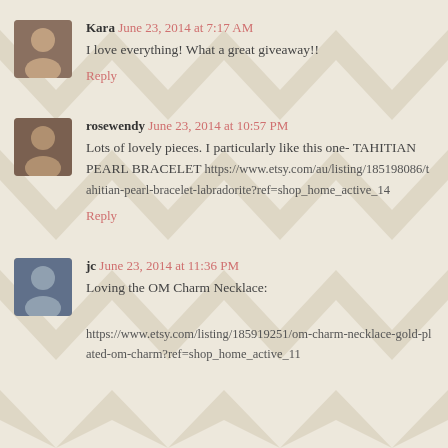[Figure (illustration): Blog comment section with chevron/arrow background pattern in beige/tan]
Kara June 23, 2014 at 7:17 AM
I love everything! What a great giveaway!!
Reply
rosewendy June 23, 2014 at 10:57 PM
Lots of lovely pieces. I particularly like this one- TAHITIAN PEARL BRACELET https://www.etsy.com/au/listing/185198086/tahitian-pearl-bracelet-labradorite?ref=shop_home_active_14
Reply
jc June 23, 2014 at 11:36 PM
Loving the OM Charm Necklace:

https://www.etsy.com/listing/185919251/om-charm-necklace-gold-plated-om-charm?ref=shop_home_active_11